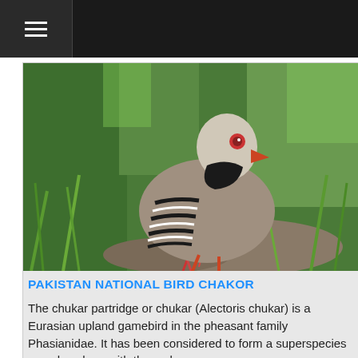≡
[Figure (photo): A chukar partridge bird with grey-brown plumage, black neck band, red beak, and distinctive black-and-white striped flanks, standing on a rock among green vegetation.]
PAKISTAN NATIONAL BIRD CHAKOR
The chukar partridge or chukar (Alectoris chukar) is a Eurasian upland gamebird in the pheasant family Phasianidae. It has been considered to form a superspecies complex along with the rock